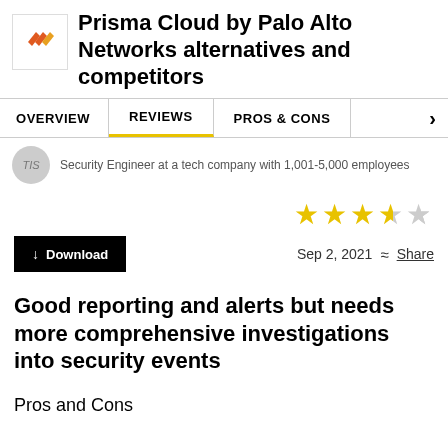Prisma Cloud by Palo Alto Networks alternatives and competitors
OVERVIEW | REVIEWS | PROS & CONS
Security Engineer at a tech company with 1,001-5,000 employees
[Figure (other): 3.5 out of 5 stars rating]
Sep 2, 2021  Share
Good reporting and alerts but needs more comprehensive investigations into security events
Pros and Cons